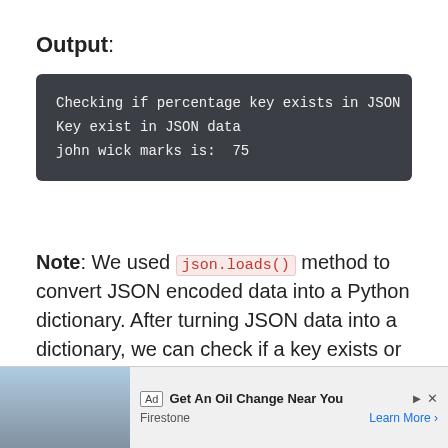Output:
[Figure (screenshot): Terminal output block on dark background showing three lines: 'Checking if percentage key exists in JSON', 'Key exist in JSON data', 'john wick marks is:  75']
Note: We used json.loads() method to convert JSON encoded data into a Python dictionary. After turning JSON data into a dictionary, we can check if a key exists or not.
Check if there is a value for a key